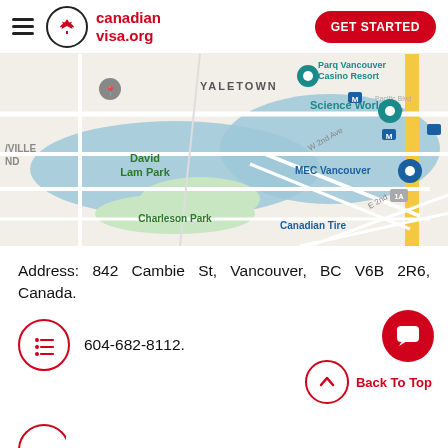canadian visa.org | GET STARTED
[Figure (map): Google Maps view showing Yaletown, David Lam Park, Charleson Park, Science World, MEC Vancouver, Canadian Tire, Parq Vancouver Casino Resort in Vancouver, BC]
Address: 842 Cambie St, Vancouver, BC V6B 2R6, Canada.
604-682-8112.